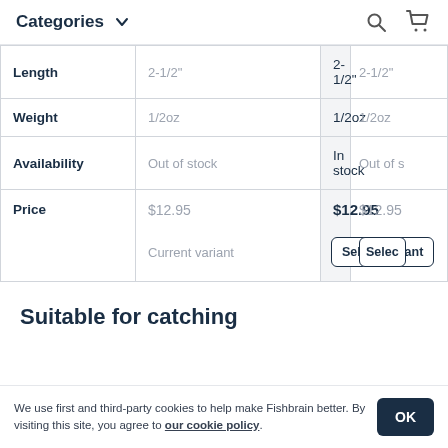Categories ∨
|  | Col1 | Col2 | Col3 |
| --- | --- | --- | --- |
| Length | 2-1/2" | 2-1/2" | 2-1/2" |
| Weight | 1/2oz | 1/2oz | 1/2oz |
| Availability | Out of stock | In stock | Out of s… |
| Price | $12.95 | $12.95 | $12.95 |
|  | Current variant | Select variant | Selec… |
Suitable for catching
We use first and third-party cookies to help make Fishbrain better. By visiting this site, you agree to our cookie policy.